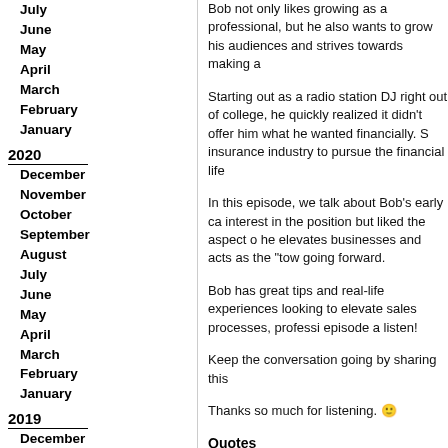July
June
May
April
March
February
January
2020
December
November
October
September
August
July
June
May
April
March
February
January
2019
December
November
October
September
August
July
June
May
April
March
Bob not only likes growing as a professional, but he also wants to grow his audiences and strives towards making a
Starting out as a radio station DJ right out of college, he quickly realized it didn’t offer him what he wanted financially. S insurance industry to pursue the financial life
In this episode, we talk about Bob’s early ca interest in the position but liked the aspect o he elevates businesses and acts as the “tow going forward.
Bob has great tips and real-life experiences looking to elevate sales processes, professi episode a listen!
Keep the conversation going by sharing this
Thanks so much for listening. 🙂
Quotes